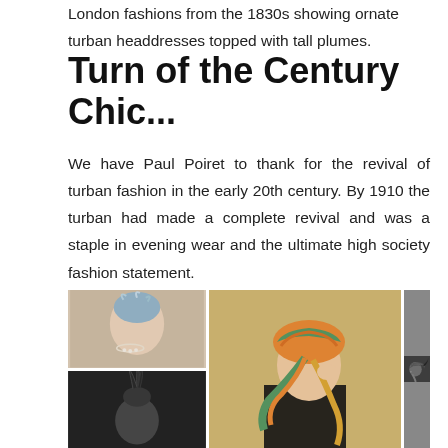London fashions from the 1830s showing ornate turban headdresses topped with tall plumes.
Turn of the Century Chic...
We have Paul Poiret to thank for the revival of turban fashion in the early 20th century. By 1910 the turban had made a complete revival and was a staple in evening wear and the ultimate high society fashion statement.
[Figure (photo): Collage of four vintage photographs and illustrations showing women wearing turban headdresses in early 20th century fashion styles, including colorful painted illustrations and black-and-white photographs.]